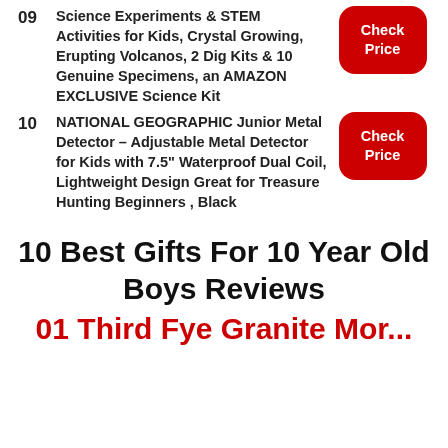09 Science Experiments & STEM Activities for Kids, Crystal Growing, Erupting Volcanos, 2 Dig Kits & 10 Genuine Specimens, an AMAZON EXCLUSIVE Science Kit
10 NATIONAL GEOGRAPHIC Junior Metal Detector – Adjustable Metal Detector for Kids with 7.5" Waterproof Dual Coil, Lightweight Design Great for Treasure Hunting Beginners , Black
10 Best Gifts For 10 Year Old Boys Reviews
01 Third Eye Granite Mortar...